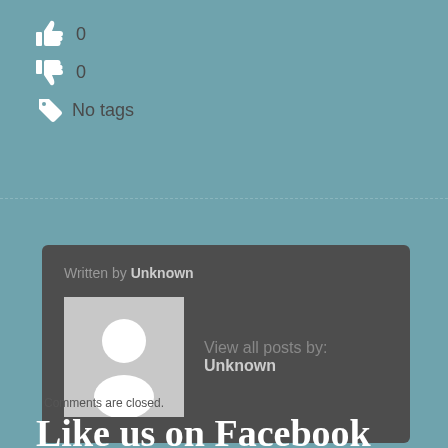[Figure (infographic): Thumbs up icon with count 0, thumbs down icon with count 0, tag icon with label 'No tags']
Written by Unknown
[Figure (photo): Default user avatar placeholder image (grey background with white person silhouette)]
View all posts by: Unknown
Comments are closed.
Like us on Facebook